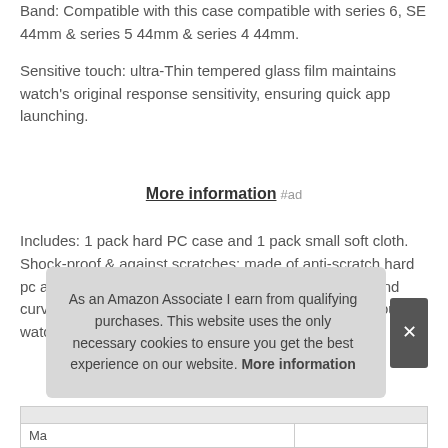Band: Compatible with this case compatible with series 6, SE 44mm & series 5 44mm & series 4 44mm.
Sensitive touch: ultra-Thin tempered glass film maintains watch's original response sensitivity, ensuring quick app launching.
More information #ad
Includes: 1 pack hard PC case and 1 pack small soft cloth. Shock-proof & against scratches: made of anti-scratch hard pc and tempered glass, this case covers the full front and curved edges of the watch, offering full protection for your watch against scratches, drops, and bumps.
As an Amazon Associate I earn from qualifying purchases. This website uses the only necessary cookies to ensure you get the best experience on our website. More information